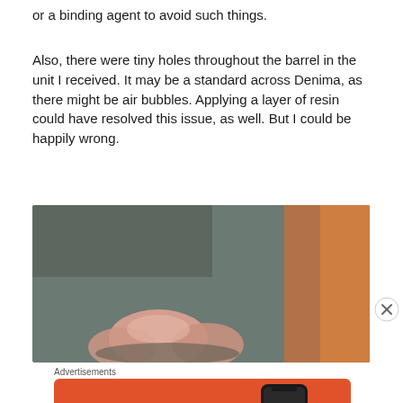or a binding agent to avoid such things.
Also, there were tiny holes throughout the barrel in the unit I received. It may be a standard across Denima, as there might be air bubbles. Applying a layer of resin could have resolved this issue, as well. But I could be happily wrong.
[Figure (photo): Close-up photo of fingers touching a dark surface, possibly a barrel or cylindrical object, with orange/brown tones on the right side]
Advertisements
[Figure (screenshot): DuckDuckGo advertisement banner on orange background: 'Search, browse, and email with more privacy. All in One Free App' with DuckDuckGo logo on a phone mockup]